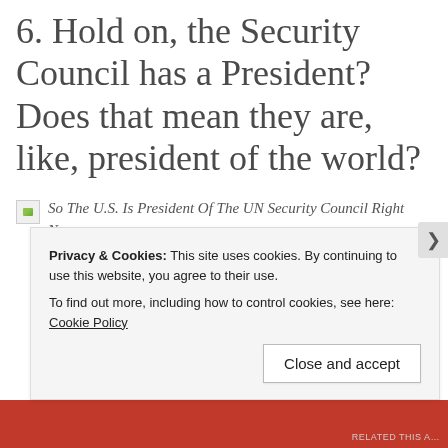6. Hold on, the Security Council has a President? Does that mean they are, like, president of the world?
[Figure (photo): Broken image placeholder with green landscape thumbnail, followed by italic caption text: So The U.S. Is President Of The UN Security Council Right Now…]
So The U.S. Is President Of The UN Security Council Right Now…
Privacy & Cookies: This site uses cookies. By continuing to use this website, you agree to their use.
To find out more, including how to control cookies, see here: Cookie Policy